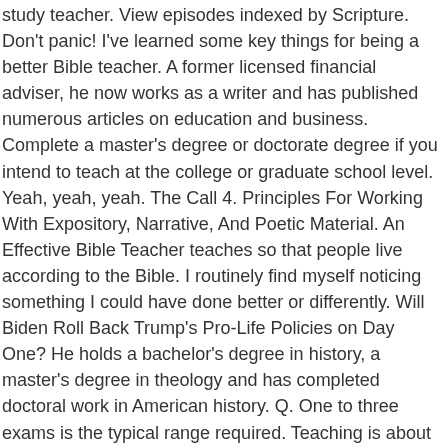study teacher. View episodes indexed by Scripture. Don't panic! I've learned some key things for being a better Bible teacher. A former licensed financial adviser, he now works as a writer and has published numerous articles on education and business. Complete a master's degree or doctorate degree if you intend to teach at the college or graduate school level. Yeah, yeah, yeah. The Call 4. Principles For Working With Expository, Narrative, And Poetic Material. An Effective Bible Teacher teaches so that people live according to the Bible. I routinely find myself noticing something I could have done better or differently. Will Biden Roll Back Trump's Pro-Life Policies on Day One? He holds a bachelor's degree in history, a master's degree in theology and has completed doctoral work in American history. Q. One to three exams is the typical range required. Teaching is about learning . Understanding the route to becoming a Christian teacher can help you to get the training that you need and land a job that works with your beliefs and values. Most great athletes are great because they have mastered the fundamentals. Understand your purpose and the nature of scripture. Master's and doctoral programs in biblical studies typically stress learning to read the biblical texts in the original Hebrew and Greek languages. Although these teachers provide instruction at